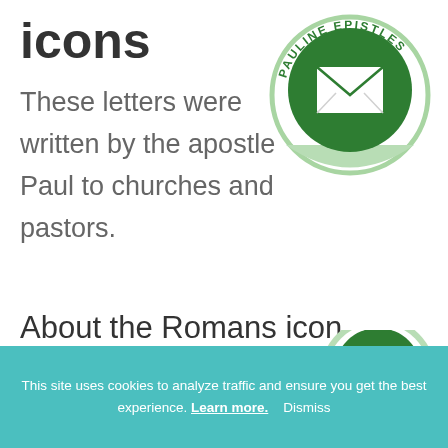icons
These letters were written by the apostle Paul to churches and pastors.
[Figure (illustration): Circular badge/icon for Pauline Epistles — dark green circle with white envelope icon, lighter green arc at bottom, text 'PAULINE EPISTLES' around the top arc, thin green ring border]
About the Romans icon
Romans shows us how
[Figure (illustration): Partial circular badge/icon, dark green with lighter green arc, partially visible at right edge]
This site uses cookies to analyze traffic and ensure you get the best experience. Learn more. Dismiss